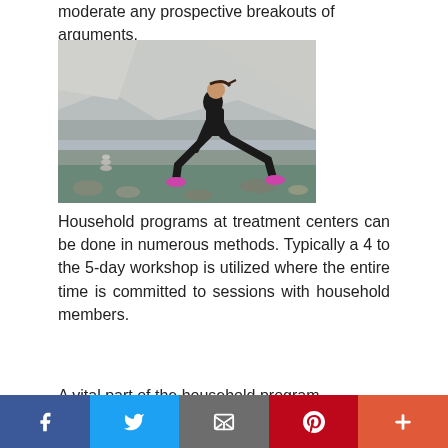moderate any prospective breakouts of arguments.
[Figure (photo): Woman in black athletic wear doing a lunge stretch outdoors near a rocky cliff and water]
Household programs at treatment centers can be done in numerous methods. Typically a 4 to the 5-day workshop is utilized where the entire time is committed to sessions with household members.
A vital part of the household program
Facebook | Twitter | Email | Pinterest | More